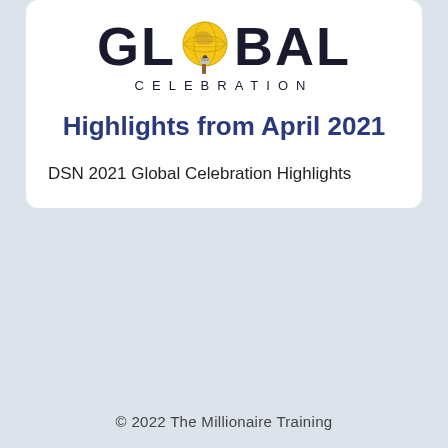[Figure (logo): GLOBAL CELEBRATION logo with globe icon replacing the letter O in GLOBAL]
Highlights from April 2021
DSN 2021 Global Celebration Highlights
© 2022 The Millionaire Training